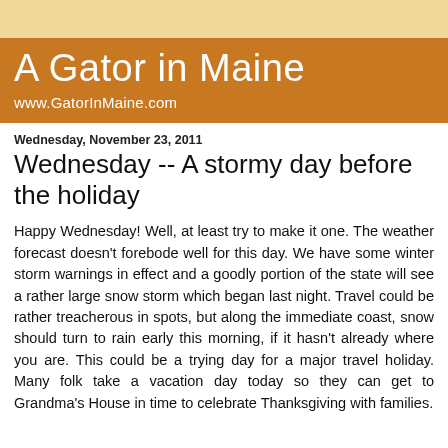A Gator in Maine
www.GatorInMaine.com
Wednesday, November 23, 2011
Wednesday -- A stormy day before the holiday
Happy Wednesday! Well, at least try to make it one. The weather forecast doesn't forebode well for this day. We have some winter storm warnings in effect and a goodly portion of the state will see a rather large snow storm which began last night. Travel could be rather treacherous in spots, but along the immediate coast, snow should turn to rain early this morning, if it hasn't already where you are. This could be a trying day for a major travel holiday. Many folk take a vacation day today so they can get to Grandma's House in time to celebrate Thanksgiving with families.